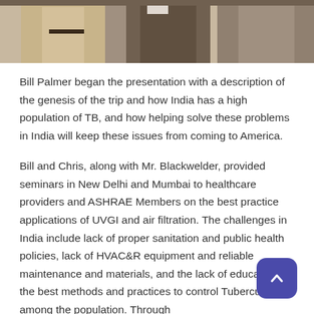[Figure (photo): Partial photograph showing people, cropped at the top of the page — torsos visible, cut off at top]
Bill Palmer began the presentation with a description of the genesis of the trip and how India has a high population of TB, and how helping solve these problems in India will keep these issues from coming to America.
Bill and Chris, along with Mr. Blackwelder, provided seminars in New Delhi and Mumbai to healthcare providers and ASHRAE Members on the best practice applications of UVGI and air filtration. The challenges in India include lack of proper sanitation and public health policies, lack of HVAC&R equipment and reliable maintenance and materials, and the lack of education on the best methods and practices to control Tuberculosis among the population. Through